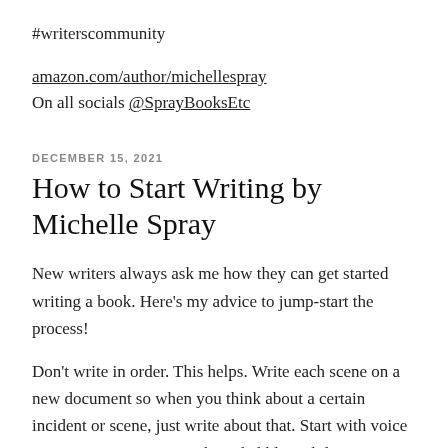#writerscommunity
amazon.com/author/michellespray
On all socials @SprayBooksEtc
DECEMBER 15, 2021
How to Start Writing by Michelle Spray
New writers always ask me how they can get started writing a book. Here's my advice to jump-start the process!
Don't write in order. This helps. Write each scene on a new document so when you think about a certain incident or scene, just write about that. Start with voice text in your notes app and just babble.. while you're driving, while you're doing the dishes.. Don't worry about grammar, structure or chronological order. For now.. Just brainstorm